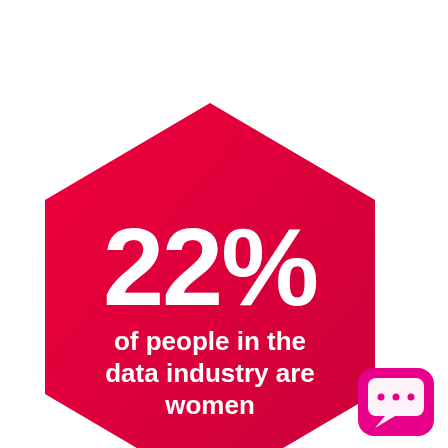[Figure (infographic): A red/crimson hexagon shape containing white text '22%' in large bold font, followed by 'of people in the data industry are women' in smaller white bold text. A pink/magenta rounded square chat bubble icon appears in the bottom-right corner.]